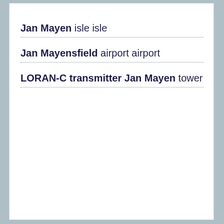Jan Mayen isle isle
Jan Mayensfield airport airport
LORAN-C transmitter Jan Mayen tower